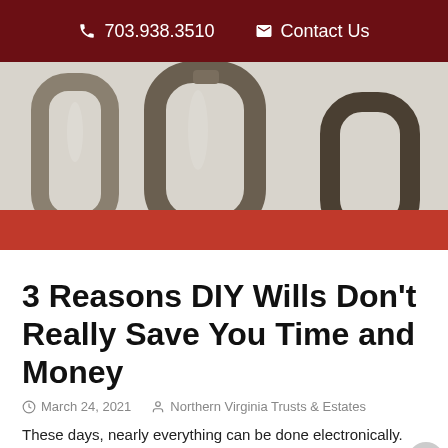703.938.3510   Contact Us
[Figure (photo): Close-up photo of metal carabiner clips with red fabric strap against a light background]
3 Reasons DIY Wills Don’t Really Save You Time and Money
March 24, 2021   Northern Virginia Trusts & Estates
These days, nearly everything can be done electronically. You can purchase a home, authorize medical decisions,